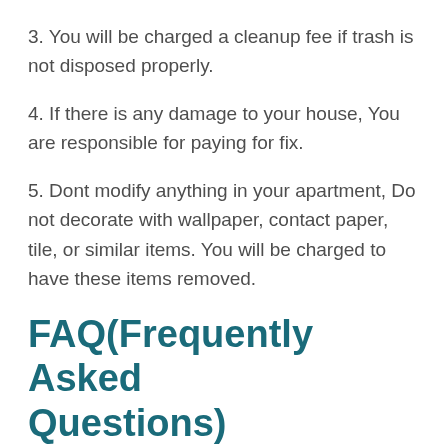3. You will be charged a cleanup fee if trash is not disposed properly.
4. If there is any damage to your house, You are responsible for paying for fix.
5. Dont modify anything in your apartment, Do not decorate with wallpaper, contact paper, tile, or similar items. You will be charged to have these items removed.
FAQ(Frequently Asked Questions)